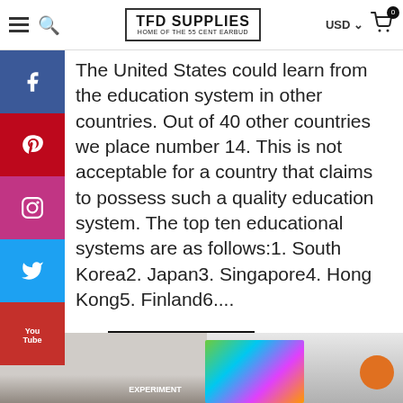TFD SUPPLIES — HOME OF THE 55 CENT EARBUD
The United States could learn from the education system in other countries. Out of 40 other countries we place number 14. This is not acceptable for a country that claims to possess such a quality education system. The top ten educational systems are as follows:1. South Korea2. Japan3. Singapore4. Hong Kong5. Finland6....
Read more
[Figure (photo): Students in a classroom looking at a colorful display on a TV screen, with a planet graphic visible on the right]